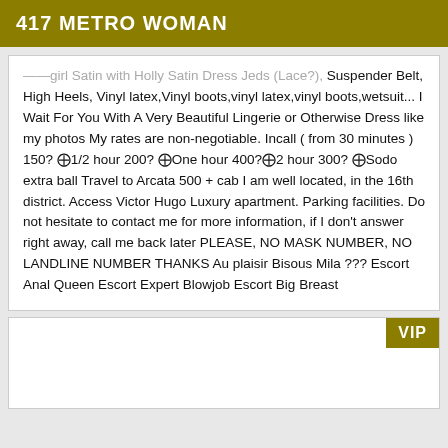417 METRO WOMAN
...girl Satin with Holly Satin Dress Jeds (Lace?), Suspender Belt, High Heels, Vinyl latex,Vinyl boots,vinyl latex,vinyl boots,wetsuit... I Wait For You With A Very Beautiful Lingerie or Otherwise Dress like my photos My rates are non-negotiable. Incall ( from 30 minutes ) 150? ₻01;1/2 hour 200? ₻01;One hour 400?₻01;2 hour 300? ₻01;Sodo extra ball Travel to Arcata 500 + cab I am well located, in the 16th district. Access Victor Hugo Luxury apartment. Parking facilities. Do not hesitate to contact me for more information, if I don't answer right away, call me back later PLEASE, NO MASK NUMBER, NO LANDLINE NUMBER THANKS Au plaisir Bisous Mila ??? Escort Anal Queen Escort Expert Blowjob Escort Big Breast
[Figure (other): Second card with VIP badge]